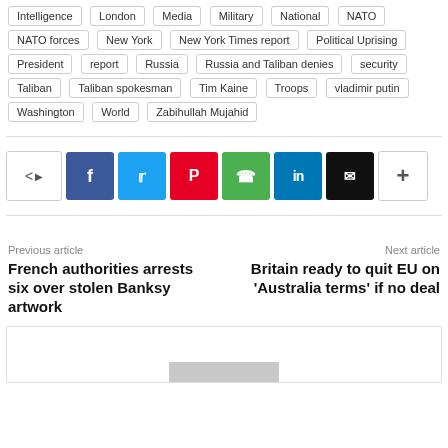Intelligence
London
Media
Military
National
NATO
NATO forces
New York
New York Times report
Political Uprising
President
report
Russia
Russia and Taliban denies
security
Taliban
Taliban spokesman
Tim Kaine
Troops
vladimir putin
Washington
World
Zabihullah Mujahid
[Figure (infographic): Social share buttons: share toggle, Facebook, Twitter, Pinterest, WhatsApp, LinkedIn, Email, More]
Previous article
French authorities arrests six over stolen Banksy artwork
Next article
Britain ready to quit EU on 'Australia terms' if no deal
[Figure (other): Advertisement box with grey bar placeholder]